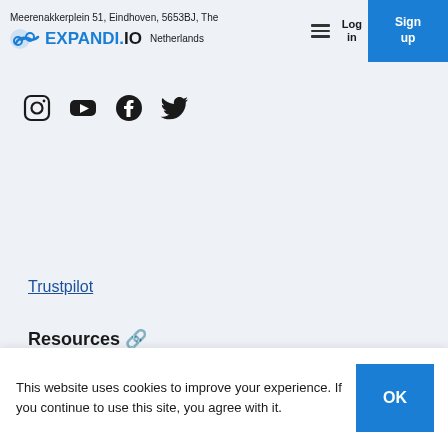Meerenakkerplein 51, Eindhoven, 5653BJ, The Netherlands
[Figure (logo): Expandi.io logo with chain-link icon and blue/black text]
[Figure (infographic): Hamburger menu icon (three horizontal lines)]
Log in
Sign up
[Figure (infographic): Social media icons row: Instagram, YouTube, Facebook, Twitter]
Trustpilot
Resources 🔗
This website uses cookies to improve your experience. If you continue to use this site, you agree with it.
OK